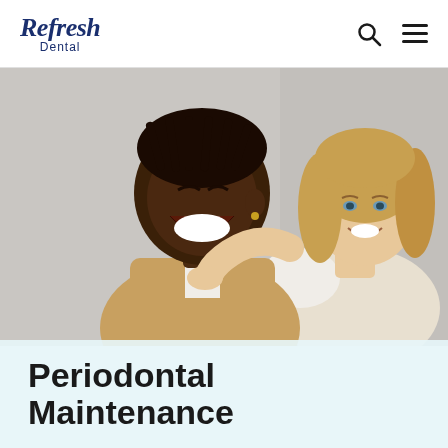Refresh Dental
[Figure (photo): Two smiling people — a man with dark skin and short dreadlocks wearing a beige top, and a woman with blonde hair wearing a white and beige outfit — posed together against a light grey background in a dental practice marketing photo.]
Periodontal Maintenance